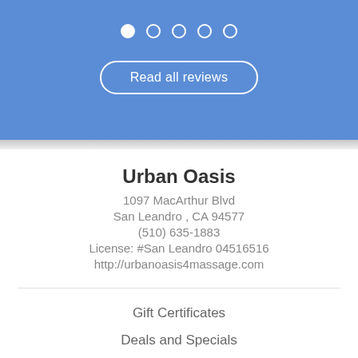[Figure (screenshot): Blue section with carousel dots (one filled, four outlined) and a 'Read all reviews' button with rounded border on blue background]
Urban Oasis
1097 MacArthur Blvd
San Leandro , CA 94577
(510) 635-1883
License: #San Leandro 04516516
http://urbanoasis4massage.com
Gift Certificates
Deals and Specials
Hours
Reviews